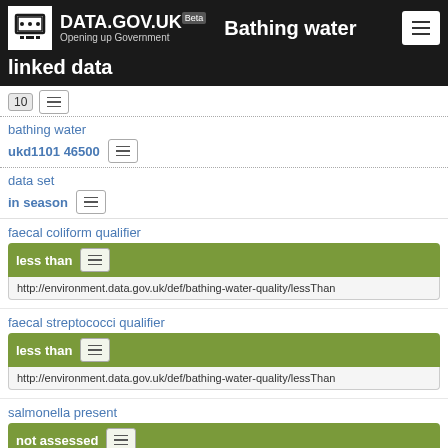DATA.GOV.UK Beta — Bathing water linked data
bathing water
ukd1101 46500
data set
in season
faecal coliform qualifier
less than
http://environment.data.gov.uk/def/bathing-water-quality/lessThan
faecal streptococci qualifier
less than
http://environment.data.gov.uk/def/bathing-water-quality/lessThan
salmonella present
not assessed